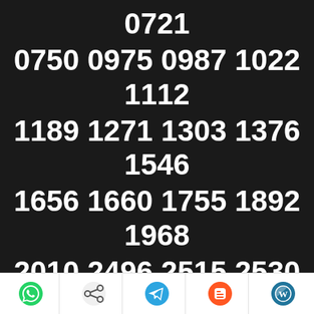(partial top) ...0750 0975 0987 1022 1112 [cut off at top]
0721
0750 0975 0987 1022 1112
1189 1271 1303 1376 1546
1656 1660 1755 1892 1968
2010 2496 2515 2530
2656
2714 2757 2796 2826
2832
WhatsApp | Share | Telegram | Blogger | WordPress